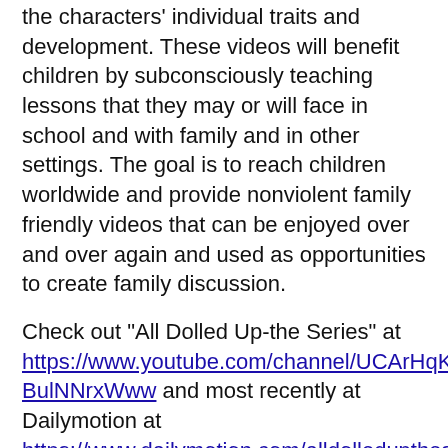the characters' individual traits and development. These videos will benefit children by subconsciously teaching lessons that they may or will face in school and with family and in other settings. The goal is to reach children worldwide and provide nonviolent family friendly videos that can be enjoyed over and over again and used as opportunities to create family discussion.
Check out "All Dolled Up-the Series" at https://www.youtube.com/channel/UCArHqKtduNU3-BulNNrxWww and most recently at Dailymotion at https://www.dailymotion.com/alldolleduptheseries. Be sure to watch, subscribe/follow and share.
The minds behind "All Dolled Up-the Series" are from Illinois. Mrs. Johnson's was inspired to create the channel when she noticed her children to love for all kinds and all behaviors and